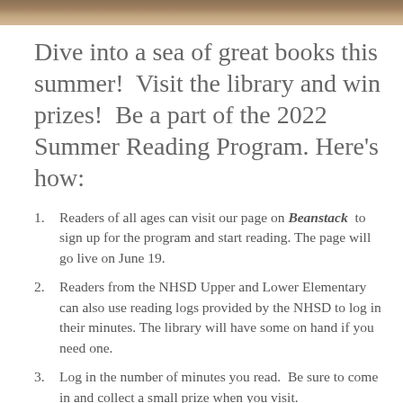[Figure (photo): Decorative banner image at the top of the page with brown/tan textured background]
Dive into a sea of great books this summer!  Visit the library and win prizes!  Be a part of the 2022 Summer Reading Program. Here’s how:
Readers of all ages can visit our page on Beanstack  to sign up for the program and start reading. The page will go live on June 19.
Readers from the NHSD Upper and Lower Elementary can also use reading logs provided by the NHSD to log in their minutes. The library will have some on hand if you need one.
Log in the number of minutes you read.  Be sure to come in and collect a small prize when you visit.
Attend any or all of our special programs listed